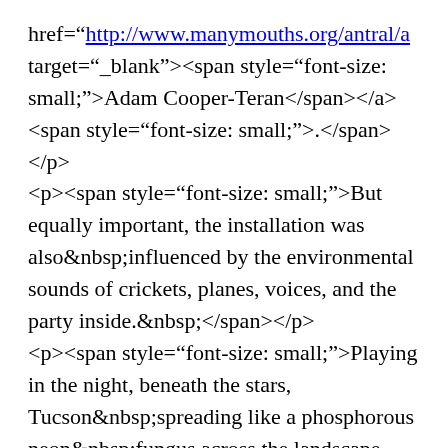href="http://www.manymouths.org/antral/a target="_blank"><span style="font-size: small;">Adam Cooper-Teran</span></a> <span style="font-size: small;">.</span> </p> <p><span style="font-size: small;">But equally important, the installation was also&nbsp;influenced by the environmental sounds of crickets, planes, voices, and the party inside.&nbsp;</span></p> <p><span style="font-size: small;">Playing in the night, beneath the stars, Tucson&nbsp;spreading like a phosphorous neon&nbsp;fungus across the landscape was mentally expansive.&nbsp;Not to mention&nbsp;the absurd moon which rose bloated and&nbsp;partially complete,